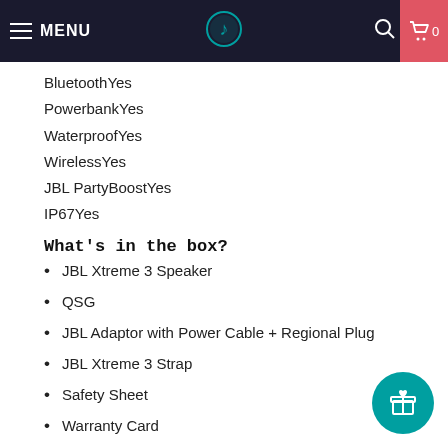MENU | [logo] | [search] | cart 0
BluetoothYes
PowerbankYes
WaterproofYes
WirelessYes
JBL PartyBoostYes
IP67Yes
What's in the box?
JBL Xtreme 3 Speaker
QSG
JBL Adaptor with Power Cable + Regional Plug
JBL Xtreme 3 Strap
Safety Sheet
Warranty Card